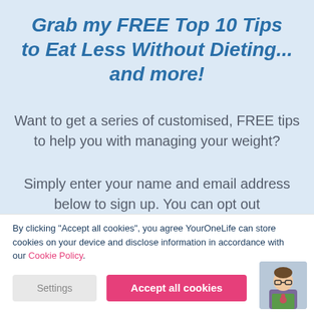Grab my FREE Top 10 Tips to Eat Less Without Dieting... and more!
Want to get a series of customised, FREE tips to help you with managing your weight?
Simply enter your name and email address below to sign up. You can opt out
By clicking “Accept all cookies”, you agree YourOneLife can store cookies on your device and disclose information in accordance with our Cookie Policy.
Settings
Accept all cookies
[Figure (photo): A person holding a book or object, shown from the shoulders up, wearing glasses]